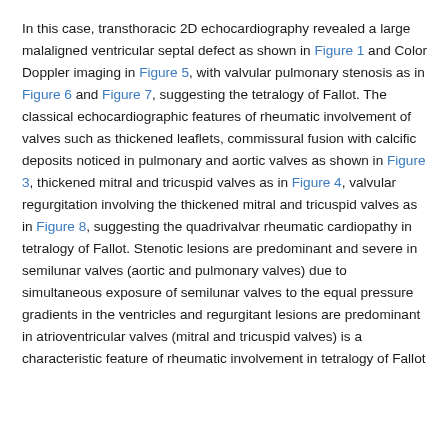In this case, transthoracic 2D echocardiography revealed a large malaligned ventricular septal defect as shown in Figure 1 and Color Doppler imaging in Figure 5, with valvular pulmonary stenosis as in Figure 6 and Figure 7, suggesting the tetralogy of Fallot. The classical echocardiographic features of rheumatic involvement of valves such as thickened leaflets, commissural fusion with calcific deposits noticed in pulmonary and aortic valves as shown in Figure 3, thickened mitral and tricuspid valves as in Figure 4, valvular regurgitation involving the thickened mitral and tricuspid valves as in Figure 8, suggesting the quadrivalvar rheumatic cardiopathy in tetralogy of Fallot. Stenotic lesions are predominant and severe in semilunar valves (aortic and pulmonary valves) due to simultaneous exposure of semilunar valves to the equal pressure gradients in the ventricles and regurgitant lesions are predominant in atrioventricular valves (mitral and tricuspid valves) is a characteristic feature of rheumatic involvement in tetralogy of Fallot